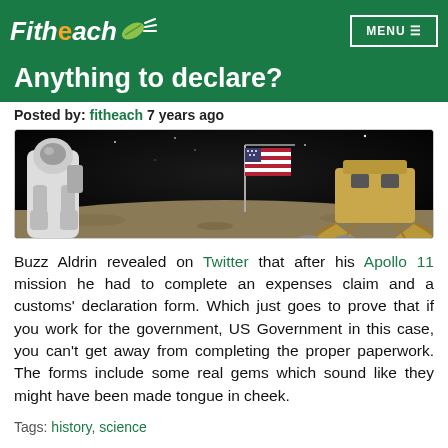Fitheach [logo] MENU
Anything to declare?
Posted by: fitheach 7 years ago
[Figure (photo): Apollo astronaut on the moon surface with US flag and lunar module visible in background]
Buzz Aldrin revealed on Twitter that after his Apollo 11 mission he had to complete an expenses claim and a customs' declaration form. Which just goes to prove that if you work for the government, US Government in this case, you can't get away from completing the proper paperwork. The forms include some real gems which sound like they might have been made tongue in cheek.
Tags: history, science